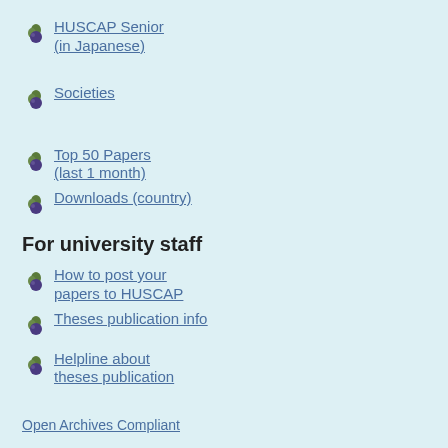HUSCAP Senior (in Japanese)
Societies
Top 50 Papers (last 1 month)
Downloads (country)
For university staff
How to post your papers to HUSCAP
Theses publication info
Helpline about theses publication
Open Archives Compliant
You can search our collection also at: